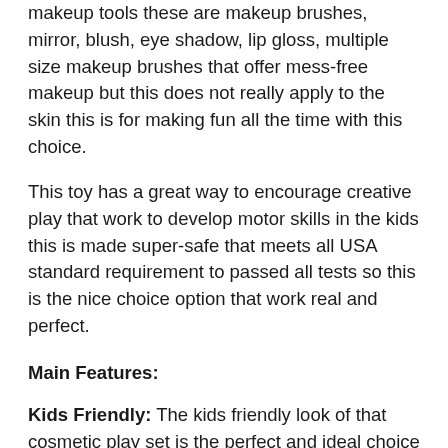makeup tools these are makeup brushes, mirror, blush, eye shadow, lip gloss, multiple size makeup brushes that offer mess-free makeup but this does not really apply to the skin this is for making fun all the time with this choice.
This toy has a great way to encourage creative play that work to develop motor skills in the kids this is made super-safe that meets all USA standard requirement to passed all tests so this is the nice choice option that work real and perfect.
Main Features:
Kids Friendly: The kids friendly look of that cosmetic play set is the perfect and ideal choice which is best and cute made choice so make a best makeup set